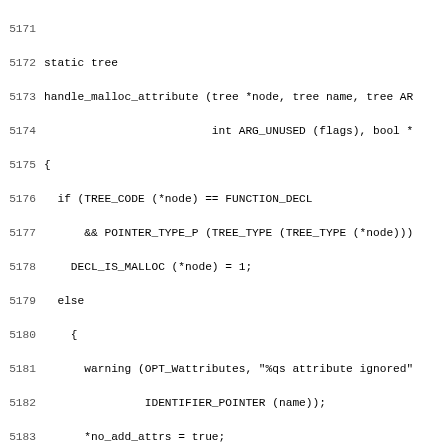Source code listing lines 5171-5202 showing C functions handle_malloc_attribute and fake_attribute_handler